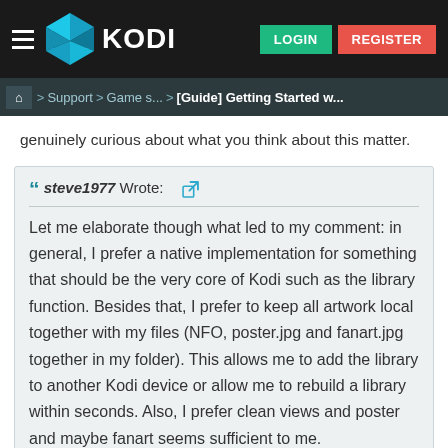KODI — LOGIN | REGISTER
Home > Support > Game s... > [Guide] Getting Started w...
genuinely curious about what you think about this matter.
steve1977 Wrote: Let me elaborate though what led to my comment: in general, I prefer a native implementation for something that should be the very core of Kodi such as the library function. Besides that, I prefer to keep all artwork local together with my files (NFO, poster.jpg and fanart.jpg together in my folder). This allows me to add the library to another Kodi device or allow me to rebuild a library within seconds. Also, I prefer clean views and poster and maybe fanart seems sufficient to me.